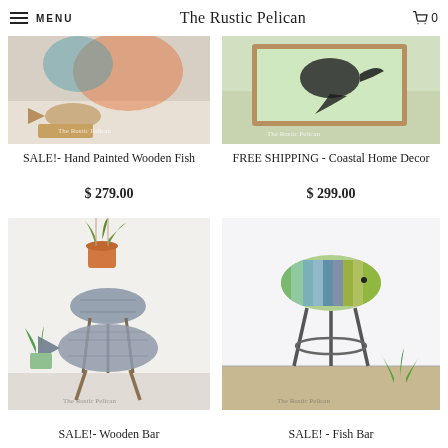MENU  The Rustic Pelican  🛒 0
[Figure (photo): Product photo of hand painted wooden fish with watermark The Rustic Pelican]
SALE!- Hand Painted Wooden Fish
$ 279.00
[Figure (photo): Product photo of coastal home decor fish wall art with watermark The Rustic Pelican]
FREE SHIPPING - Coastal Home Decor
$ 299.00
[Figure (photo): Product photo of two wooden bar stools shaped like fish with plant on top, watermark The Rustic Pelican]
SALE!- Wooden Bar
[Figure (photo): Product photo of fish bar stool with striped colorful seat top and metal legs, plant nearby, watermark The Rustic Pelican]
SALE! - Fish Bar